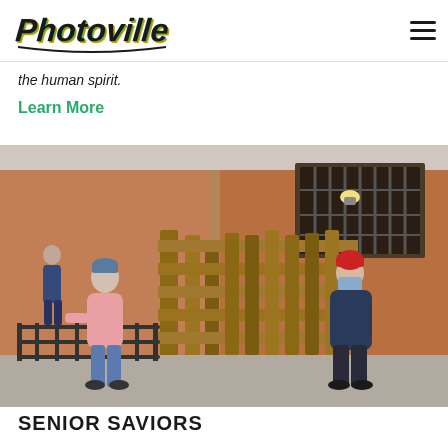Photoville
the human spirit.
Learn More
[Figure (photo): Two people wearing masks and winter coats carrying wooden pallets outside a brick building. One person wears a pink jacket and blue cap, the other wears a dark jacket and red beanie. A third person in a blue jacket stands in the background near a ramp.]
SENIOR SAVIORS